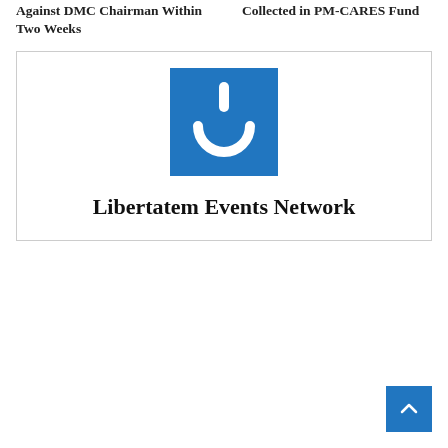Against DMC Chairman Within Two Weeks
Collected in PM-CARES Fund
[Figure (logo): Libertatem Events Network logo: blue square with white power button icon]
Libertatem Events Network